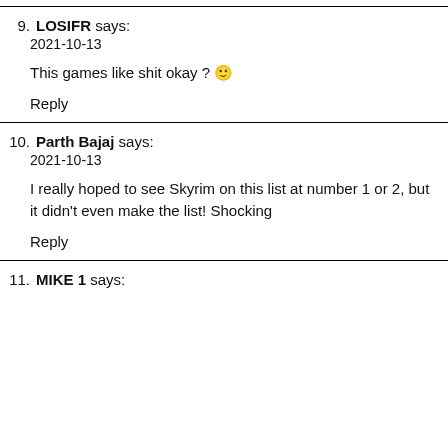9. LOSIFR says: 2021-10-13
This games like shit okay ? 🙂
Reply
10. Parth Bajaj says: 2021-10-13
I really hoped to see Skyrim on this list at number 1 or 2, but it didn't even make the list! Shocking
Reply
11. MIKE 1 says: